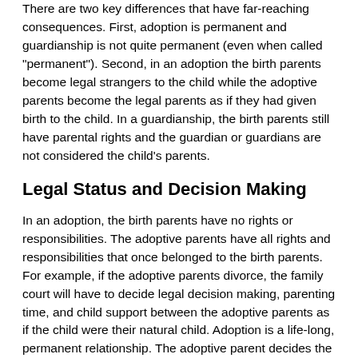There are two key differences that have far-reaching consequences. First, adoption is permanent and guardianship is not quite permanent (even when called "permanent"). Second, in an adoption the birth parents become legal strangers to the child while the adoptive parents become the legal parents as if they had given birth to the child. In a guardianship, the birth parents still have parental rights and the guardian or guardians are not considered the child's parents.
Legal Status and Decision Making
In an adoption, the birth parents have no rights or responsibilities. The adoptive parents have all rights and responsibilities that once belonged to the birth parents. For example, if the adoptive parents divorce, the family court will have to decide legal decision making, parenting time, and child support between the adoptive parents as if the child were their natural child. Adoption is a life-long, permanent relationship. The adoptive parent decides the child's legal name, which is usually the adoptive parents' name. The birth parents do not